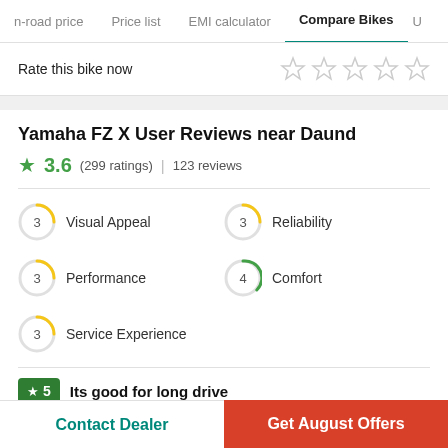n-road price  Price list  EMI calculator  Compare Bikes  U
Rate this bike now
Yamaha FZ X User Reviews near Daund
★ 3.6  (299 ratings)  |  123 reviews
3  Visual Appeal
3  Reliability
3  Performance
4  Comfort
3  Service Experience
★ 5  Its good for long drive
Contact Dealer  |  Get August Offers